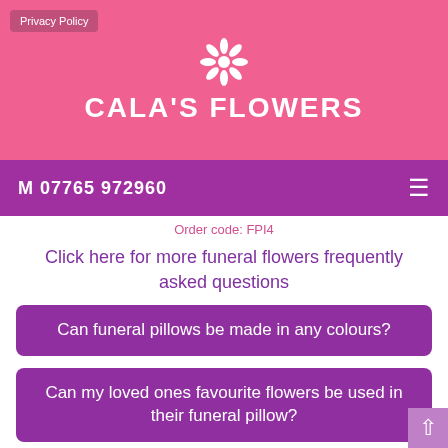Privacy Policy
[Figure (logo): Cala's Flowers logo with white flower icon and brand name]
M 07765 972960
Order code: FPI4
Click here for more funeral flowers frequently asked questions
Can funeral pillows be made in any colours?
Can my loved ones favourite flowers be used in their funeral pillow?